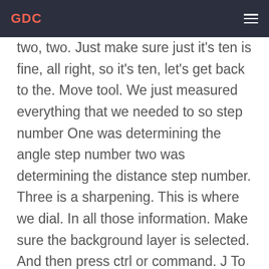GDC
two, two. Just make sure just it's ten is fine, all right, so it's ten, let's get back to the. Move tool. We just measured everything that we needed to so step number One was determining the angle step number two was determining the distance step number. Three is a sharpening. This is where we dial. In all those information. Make sure the background layer is selected. And then press ctrl or command. J To make a copy